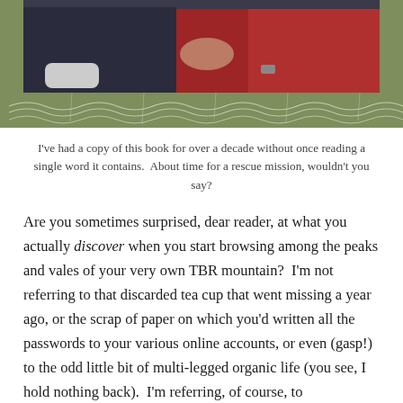[Figure (photo): Photo of two people lounging on a couch/sofa, one in dark clothing, one in a red floral print outfit, with a decorative olive/green background featuring white cursive/wavy script text at the bottom.]
I've had a copy of this book for over a decade without once reading a single word it contains.  About time for a rescue mission, wouldn't you say?
Are you sometimes surprised, dear reader, at what you actually discover when you start browsing among the peaks and vales of your very own TBR mountain?  I'm not referring to that discarded tea cup that went missing a year ago, or the scrap of paper on which you'd written all the passwords to your various online accounts, or even (gasp!) to the odd little bit of multi-legged organic life (you see, I hold nothing back).  I'm referring, of course, to